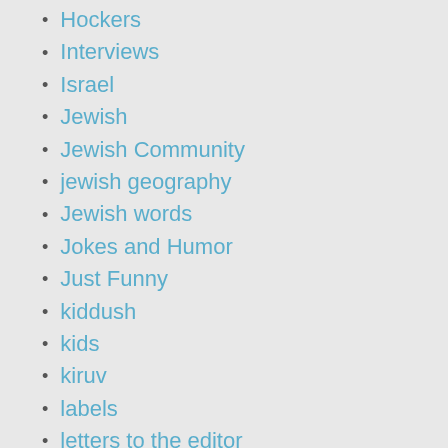Hockers
Interviews
Israel
Jewish
Jewish Community
jewish geography
Jewish words
Jokes and Humor
Just Funny
kiddush
kids
kiruv
labels
letters to the editor
Links
lists
live shows
Lubavitchers
marriage